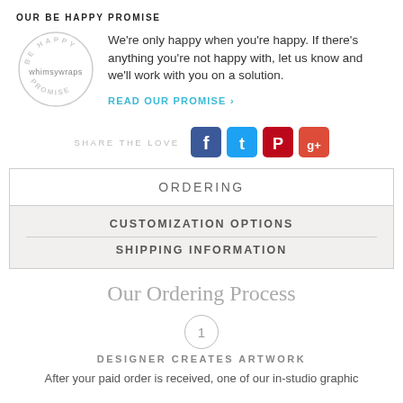OUR BE HAPPY PROMISE
[Figure (logo): Whimsy Wraps circular 'Be Happy Promise' stamp logo]
We're only happy when you're happy. If there's anything you're not happy with, let us know and we'll work with you on a solution.
READ OUR PROMISE >
SHARE THE LOVE
[Figure (illustration): Social media icons: Facebook, Twitter, Pinterest, Google+]
ORDERING
CUSTOMIZATION OPTIONS
SHIPPING INFORMATION
Our Ordering Process
1
DESIGNER CREATES ARTWORK
After your paid order is received, one of our in-studio graphic